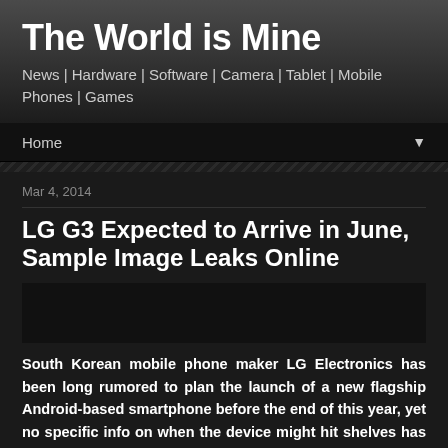The World is Mine
News | Hardware | Software | Camera | Tablet | Mobile Phones | Games
Home
Mar 4, 2014
LG G3 Expected to Arrive in June, Sample Image Leaks Online
South Korean mobile phone maker LG Electronics has been long rumored to plan the launch of a new flagship Android-based smartphone before the end of this year, yet no specific info on when the device might hit shelves has been provided as of now.